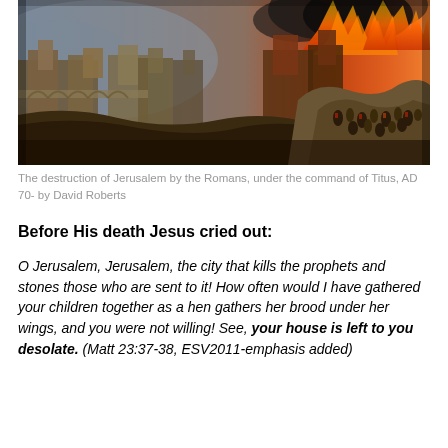[Figure (illustration): Painting depicting the destruction of Jerusalem by the Romans under the command of Titus, AD 70, by David Roberts. The panoramic scene shows a burning city on the right with flames and smoke, soldiers and crowds on rocky terrain, and stone architecture in the background.]
The destruction of Jerusalem by the Romans, under the command of Titus, AD 70- by David Roberts
Before His death Jesus cried out:
O Jerusalem, Jerusalem, the city that kills the prophets and stones those who are sent to it! How often would I have gathered your children together as a hen gathers her brood under her wings, and you were not willing! See, your house is left to you desolate. (Matt 23:37-38, ESV2011-emphasis added)